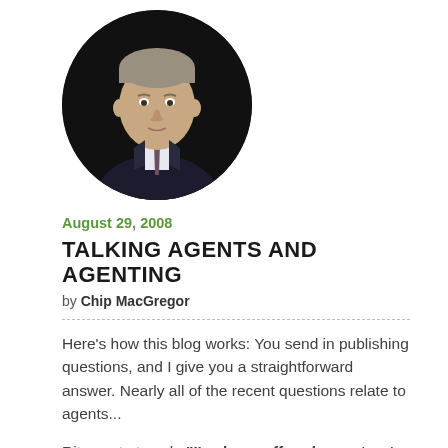[Figure (photo): Circular portrait photo of a man in a suit and tie against a dark background]
August 29, 2008
TALKING AGENTS AND AGENTING
by Chip MacGregor
Here's how this blog works: You send in publishing questions, and I give you a straightforward answer. Nearly all of the recent questions relate to agents...
Rita wrote to ask, "I've been offered a contract on my novel... When an author is offered a deal and they don't yet have an agent, should they